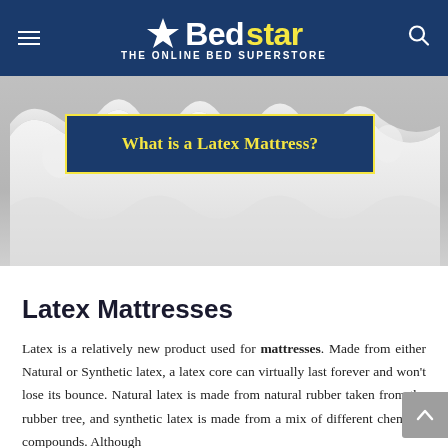Bedstar — THE ONLINE BED SUPERSTORE
[Figure (photo): Hero image of a latex mattress foam cross-section on a grey background with a dark blue overlay box containing the text 'What is a Latex Mattress?' in yellow]
Latex Mattresses
Latex is a relatively new product used for mattresses. Made from either Natural or Synthetic latex, a latex core can virtually last forever and won't lose its bounce. Natural latex is made from natural rubber taken from the rubber tree, and synthetic latex is made from a mix of different chemical compounds. Although